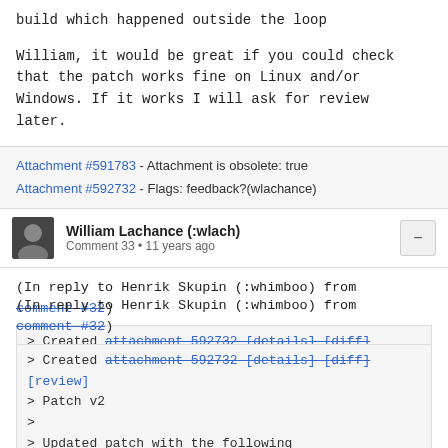build which happened outside the loop

William, it would be great if you could check that the patch works fine on Linux and/or Windows. If it works I will ask for review later.
Attachment #591783 - Attachment is obsolete: true
Attachment #592732 - Flags: feedback?(wlachance)
William Lachance (:wlach)
Comment 33 • 11 years ago
(In reply to Henrik Skupin (:whimboo) from comment #32)
> Created attachment 592732 [details] [diff] [review]
> Patch v2
>
> Updated patch with the following improvements: